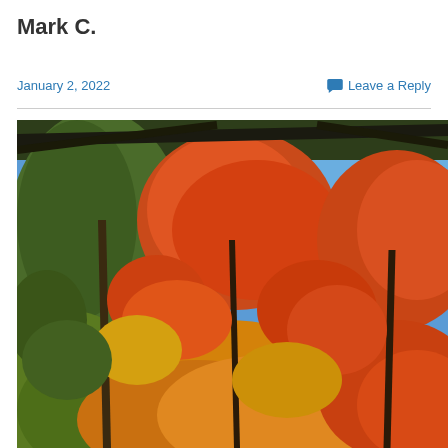Mark C.
January 2, 2022
Leave a Reply
[Figure (photo): Autumn trees with orange, red, yellow, and green foliage photographed from below against a bright blue sky.]